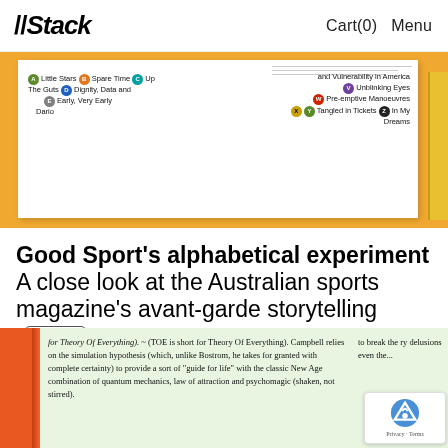//Stack    Cart(0)  Menu
[Figure (photo): Open magazine showing an alphabetical index/contents page with colorful circular letter badges (A through Z) next to article titles on a yellow/orange background]
Good Sport's alphabetical experiment A close look at the Australian sports magazine's avant-garde storytelling Sport
[Figure (photo): Close-up of a printed magazine page with green-tinted paper showing text about Theory Of Everything, simulation hypothesis, Campbell, Bostrom, quantum mechanics, and psychomagic, with an orange spine and reCAPTCHA badge overlay]